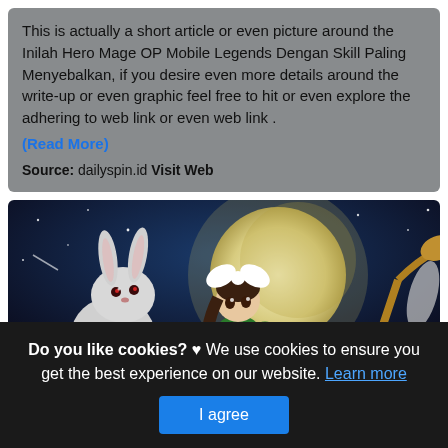This is actually a short article or even picture around the Inilah Hero Mage OP Mobile Legends Dengan Skill Paling Menyebalkan, if you desire even more details around the write-up or even graphic feel free to hit or even explore the adhering to web link or even web link . (Read More)
Source: dailyspin.id Visit Web
[Figure (illustration): Mobile Legends game art showing a girl character with a white bow in her hair, wearing green outfit, accompanied by a white bunny, with a large moon in the background and a starry night sky.]
Do you like cookies? ♥ We use cookies to ensure you get the best experience on our website. Learn more
I agree